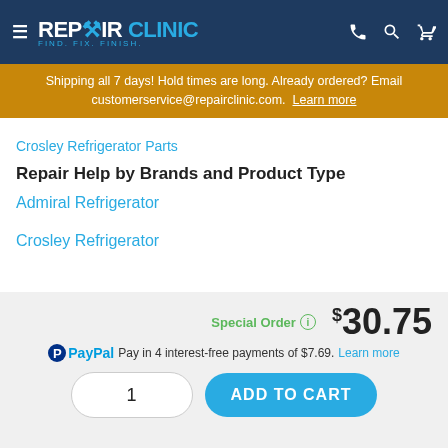REPAIR CLINIC — FIND. FIX. FINISH.
Shipping all 7 days! Hold times are long. Already ordered? Email customerservice@repairclinic.com. Learn more
Crosley Refrigerator Parts
Repair Help by Brands and Product Type
Admiral Refrigerator
Crosley Refrigerator
Special Order  $30.75
PayPal Pay in 4 interest-free payments of $7.69. Learn more
1  ADD TO CART